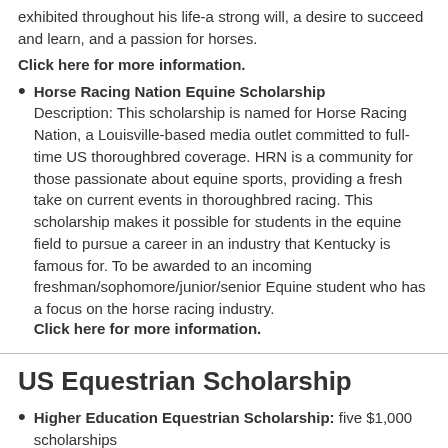exhibited throughout his life-a strong will, a desire to succeed and learn, and a passion for horses.
Click here for more information.
Horse Racing Nation Equine Scholarship
Description: This scholarship is named for Horse Racing Nation, a Louisville-based media outlet committed to full-time US thoroughbred coverage. HRN is a community for those passionate about equine sports, providing a fresh take on current events in thoroughbred racing. This scholarship makes it possible for students in the equine field to pursue a career in an industry that Kentucky is famous for. To be awarded to an incoming freshman/sophomore/junior/senior Equine student who has a focus on the horse racing industry.
Click here for more information.
US Equestrian Scholarship
Higher Education Equestrian Scholarship: five $1,000 scholarships